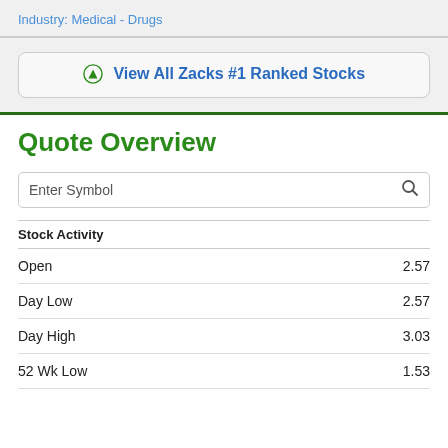Industry: Medical - Drugs
View All Zacks #1 Ranked Stocks
Quote Overview
Enter Symbol
| Stock Activity |  |
| --- | --- |
| Open | 2.57 |
| Day Low | 2.57 |
| Day High | 3.03 |
| 52 Wk Low | 1.53 |